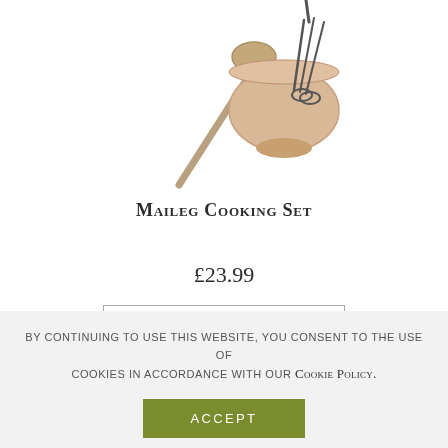[Figure (photo): Product image showing a ladle/spoon and a ceramic bowl with a whisk, on a white background — Maileg Cooking Set]
Maileg Cooking Set
£23.99
Add to basket
1  2  ›
By continuing to use this website, you consent to the use of cookies in accordance with our Cookie Policy.
Accept